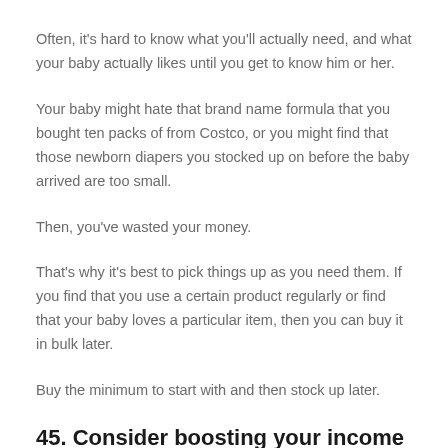Often, it's hard to know what you'll actually need, and what your baby actually likes until you get to know him or her.
Your baby might hate that brand name formula that you bought ten packs of from Costco, or you might find that those newborn diapers you stocked up on before the baby arrived are too small.
Then, you've wasted your money.
That's why it's best to pick things up as you need them. If you find that you use a certain product regularly or find that your baby loves a particular item, then you can buy it in bulk later.
Buy the minimum to start with and then stock up later.
45. Consider boosting your income